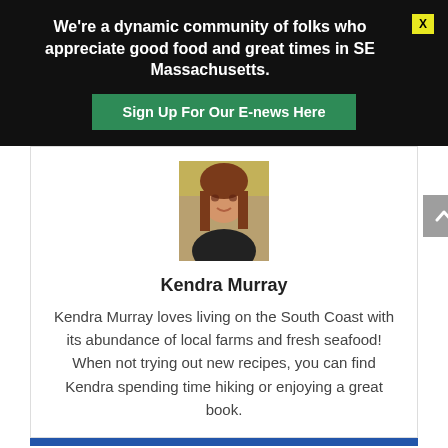We're a dynamic community of folks who appreciate good food and great times in SE Massachusetts.
Sign Up For Our E-news Here
[Figure (photo): Profile photo of Kendra Murray, a woman with long brown hair]
Kendra Murray
Kendra Murray loves living on the South Coast with its abundance of local farms and fresh seafood! When not trying out new recipes, you can find Kendra spending time hiking or enjoying a great book.